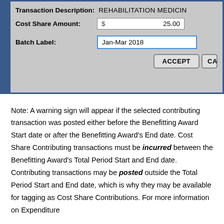[Figure (screenshot): A dialog box form with fields: Transaction Description showing 'REHABILITATION MEDICIN', Cost Share Amount showing '$ 25.00', Batch Label with input 'Jan-Mar 2018', and ACCEPT / CA[NCEL] buttons. The dialog has a blue left border and grey background.]
Note: A warning sign will appear if the selected contributing transaction was posted either before the Benefitting Award Start date or after the Benefitting Award's End date. Cost Share Contributing transactions must be incurred between the Benefitting Award's Total Period Start and End date. Contributing transactions may be posted outside the Total Period Start and End date, which is why they may be available for tagging as Cost Share Contributions. For more information on Expenditure